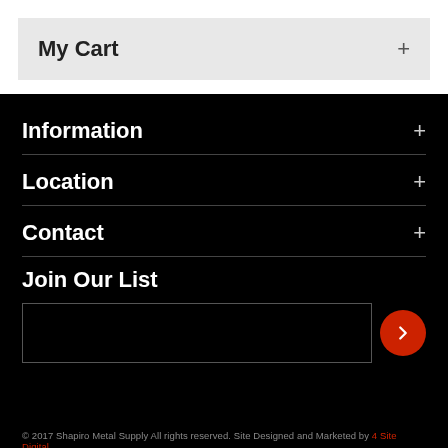My Cart +
Information +
Location +
Contact +
Join Our List
© 2017 Shapiro Metal Supply All rights reserved. Site Designed and Marketed by 4 Site Digital